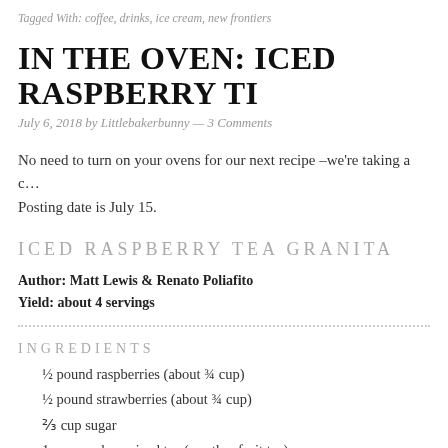Tagged With: coffee, drinks, ice cream, new frontiers
IN THE OVEN: ICED RASPBERRY TI
July 6, 2018 by Littlebakerbunny — 3 Comments
No need to turn on your ovens for our next recipe –we're taking a c… Posting date is July 15.
ICED RASPBERRY TEA GRANITA
Author: Matt Lewis & Renato Poliafito
Yield: about 4 servings
INGREDIENTS
½ pound raspberries (about ¾ cup)
½ pound strawberries (about ¾ cup)
⅔ cup sugar
1 cup raspberry iced tea (or other fruit tea)
¾ cup Champagne
Grated zest of 1 lime